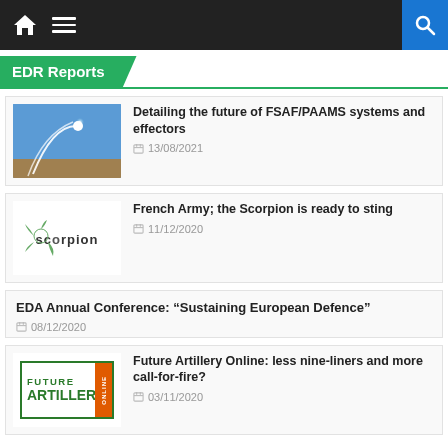Navigation bar with home, menu, and search icons
EDR Reports
[Figure (photo): Missile launch photo with bright sky]
Detailing the future of FSAF/PAAMS systems and effectors
13/08/2021
[Figure (logo): Scorpion logo]
French Army; the Scorpion is ready to sting
11/12/2020
EDA Annual Conference: “Sustaining European Defence”
08/12/2020
[Figure (logo): Future Artillery Online logo]
Future Artillery Online: less nine-liners and more call-for-fire?
03/11/2020